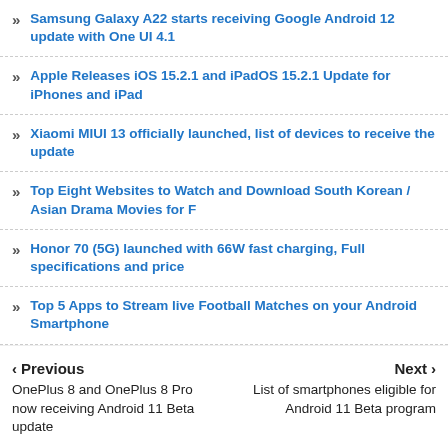Samsung Galaxy A22 starts receiving Google Android 12 update with One UI 4.1
Apple Releases iOS 15.2.1 and iPadOS 15.2.1 Update for iPhones and iPad
Xiaomi MIUI 13 officially launched, list of devices to receive the update
Top Eight Websites to Watch and Download South Korean / Asian Drama Movies for F
Honor 70 (5G) launched with 66W fast charging, Full specifications and price
Top 5 Apps to Stream live Football Matches on your Android Smartphone
Previous: OnePlus 8 and OnePlus 8 Pro now receiving Android 11 Beta update
Next: List of smartphones eligible for Android 11 Beta program
LEAVE A COMMENT | BLOGGER | FACEBOOK | DISQUS
No Comments:
Join YomiTech.Com Telegram Channel
For your latest free browsing cheat, tech news, phone